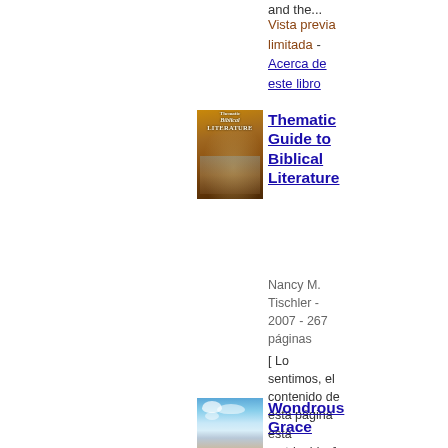and the...
Vista previa limitada - Acerca de este libro
[Figure (photo): Book cover for Thematic Guide to Biblical Literature — brown/orange tones with classical painting]
Thematic Guide to Biblical Literature
Nancy M. Tischler - 2007 - 267 páginas
[ Lo sentimos, el contenido de esta página está restringido. ]
Vista de fragmentos - Acerca de este libro
[Figure (photo): Book cover for Wondrous Grace — blue sky with clouds]
Wondrous Grace